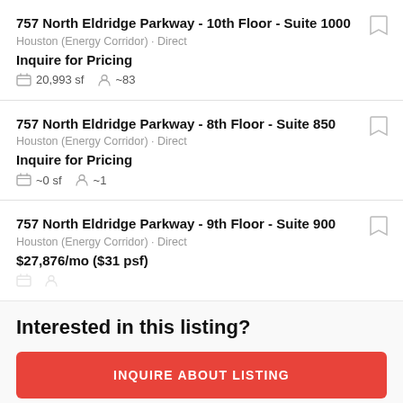757 North Eldridge Parkway - 10th Floor - Suite 1000
Houston (Energy Corridor) · Direct
Inquire for Pricing
20,993 sf  ~83
757 North Eldridge Parkway - 8th Floor - Suite 850
Houston (Energy Corridor) · Direct
Inquire for Pricing
~0 sf  ~1
757 North Eldridge Parkway - 9th Floor - Suite 900
Houston (Energy Corridor) · Direct
$27,876/mo ($31 psf)
Interested in this listing?
INQUIRE ABOUT LISTING
SCHEDULE A TOUR